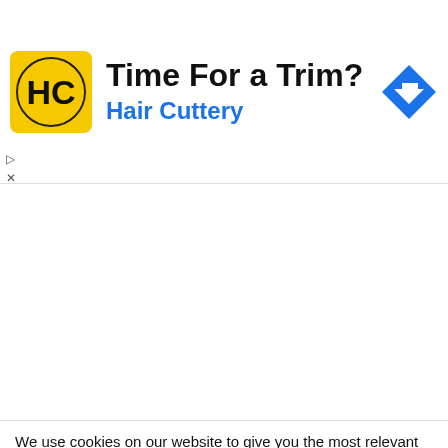[Figure (infographic): Hair Cuttery advertisement banner with yellow square logo featuring 'HC' initials, headline 'Time For a Trim?' and subtitle 'Hair Cuttery' in blue, with a blue diamond navigation arrow icon on the right]
abour even in the face of all what you know to be true about the Prime Minister.

btw, you very well know that the UWP decision is based on sound merit and logic, but your red tinted shades will not allow you to admit otherwise.

It is people like you, who are ensuring the doom of the
We use cookies on our website to give you the most relevant experience by remembering your preferences and repeat visits. By clicking "Accept All", you consent to the use of ALL the cookies. However, you may visit "Cookie Settings" to provide a controlled consent. Read More